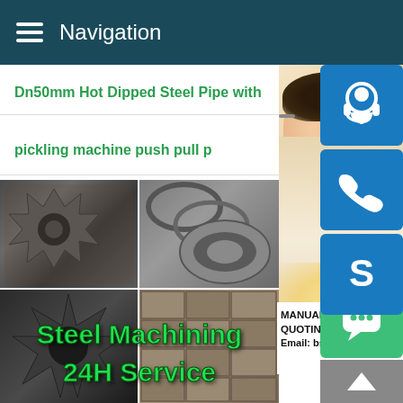Navigation
Dn50mm Hot Dipped Steel Pipe with
pickling machine push pull p
[Figure (photo): Steel machining parts: gears, metal rings, steel plates, machine parts collage. Overlaid green text: Steel Machining 24H Service]
[Figure (photo): Customer service representative (Asian woman with headset) background photo on right side]
MANUAL SE
QUOTING O
Email: bsteel1@163.com